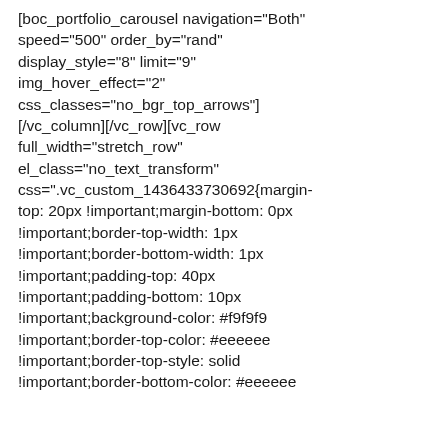[boc_portfolio_carousel navigation="Both" speed="500" order_by="rand" display_style="8" limit="9" img_hover_effect="2" css_classes="no_bgr_top_arrows"] [/vc_column][/vc_row][vc_row full_width="stretch_row" el_class="no_text_transform" css=".vc_custom_1436433730692{margin-top: 20px !important;margin-bottom: 0px !important;border-top-width: 1px !important;border-bottom-width: 1px !important;padding-top: 40px !important;padding-bottom: 10px !important;background-color: #f9f9f9 !important;border-top-color: #eeeeee !important;border-top-style: solid !important;border-bottom-color: #eeeeee